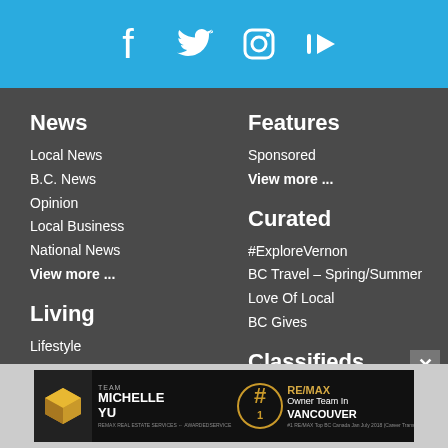[Figure (other): Social media icons (Facebook, Twitter, Instagram, YouTube) on blue bar]
News
Local News
B.C. News
Opinion
Local Business
National News
View more ...
Living
Lifestyle
Food and Drink
Events and Entertainment
History
Endorsed
Travel
Features
Sponsored
View more ...
Curated
#ExploreVernon
BC Travel – Spring/Summer
Love Of Local
BC Gives
Classifieds
Obits
Shop
[Figure (photo): Team Michelle Yu RE/MAX advertisement banner]